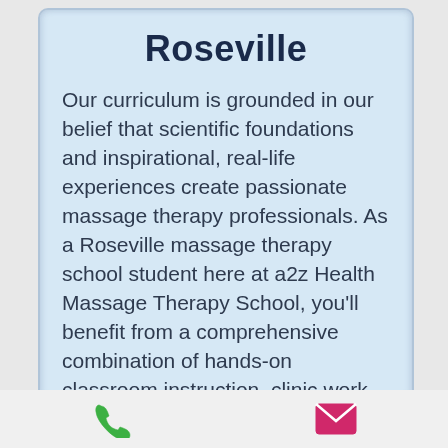Roseville
Our curriculum is grounded in our belief that scientific foundations and inspirational, real-life experiences create passionate massage therapy professionals. As a Roseville massage therapy school student here at a2z Health Massage Therapy School, you'll benefit from a comprehensive combination of hands-on classroom instruction, clinic work and community outreach. After graduation, we'll continue to support our Roseville massage therapy school graduates with ongoing learning opportunities through continuing education,
[Figure (illustration): Phone icon (green handset) in footer bar]
[Figure (illustration): Email icon (pink/magenta envelope) in footer bar]